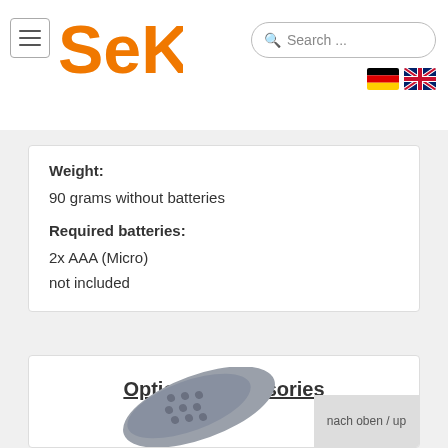Seki — Search bar with German and UK flag
Weight:
90 grams without batteries
Required batteries:
2x AAA (Micro)
not included
Optional accessories
[Figure (photo): A grey TV remote control, partially visible at bottom of page]
nach oben / up